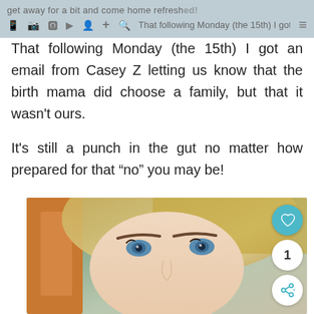get away for a bit and come home refreshed! That following Monday (the 15th) I got an email
That following Monday (the 15th) I got an email from Casey Z letting us know that the birth mama did choose a family, but that it wasn't ours.
It's still a punch in the gut no matter how prepared for that “no” you may be!
[Figure (photo): Close-up selfie photo of a blonde woman with blue eyes and defined eyebrows, with a wooden door frame visible in the background.]